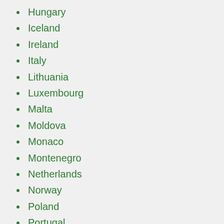Hungary
Iceland
Ireland
Italy
Lithuania
Luxembourg
Malta
Moldova
Monaco
Montenegro
Netherlands
Norway
Poland
Portugal
Romania
Russia
Serbia
Slovenia
Spain
Sweden
Switzerland
Ukraine